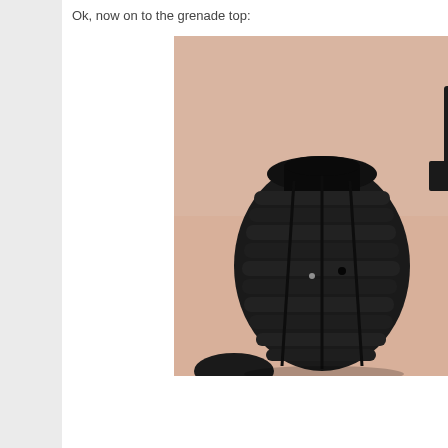Ok, now on to the grenade top:
[Figure (photo): Close-up photograph of a black disassembled grenade body (ribbed cylindrical shell open at the top) on a tan/peach background, with additional black parts visible at the right side of the frame. A white box with an X button appears in the lower right corner of the image.]